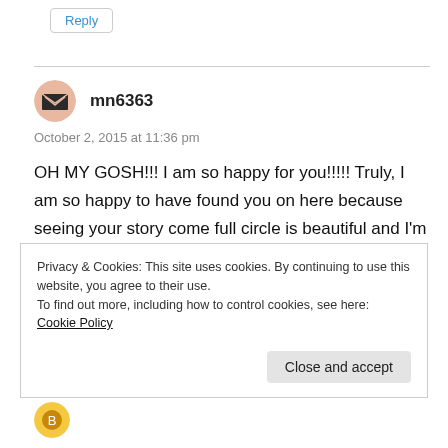Reply
[Figure (illustration): User avatar icon for mn6363 - stylized envelope/heart shape in pink and dark colors, circular]
mn6363
October 2, 2015 at 11:36 pm
OH MY GOSH!!! I am so happy for you!!!!! Truly, I am so happy to have found you on here because seeing your story come full circle is beautiful and I'm so happy to know of it!!! Congratulations!!
Privacy & Cookies: This site uses cookies. By continuing to use this website, you agree to their use.
To find out more, including how to control cookies, see here: Cookie Policy
Close and accept